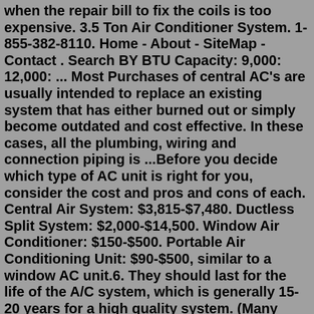when the repair bill to fix the coils is too expensive. 3.5 Ton Air Conditioner System. 1-855-382-8110. Home - About - SiteMap - Contact . Search BY BTU Capacity: 9,000: 12,000: ... Most Purchases of central AC's are usually intended to replace an existing system that has either burned out or simply become outdated and cost effective. In these cases, all the plumbing, wiring and connection piping is ...Before you decide which type of AC unit is right for you, consider the cost and pros and cons of each. Central Air System: $3,815-$7,480. Ductless Split System: $2,000-$14,500. Window Air Conditioner: $150-$500. Portable Air Conditioning Unit: $90-$500, similar to a window AC unit.6. They should last for the life of the A/C system, which is generally 15-20 years for a high quality system. (Many people end up replacing their systems between 12 and 15 years due to efficiency issues or deferred maintenance causing damage to more easily damaged components, such as the compressor.) Most of the time, evaporator coils fail ...Budgetheating.com stocks a full selection of Rheem